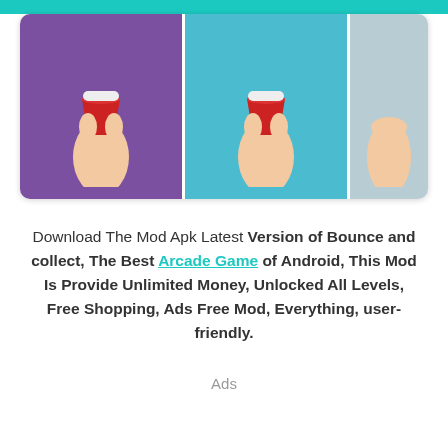[Figure (screenshot): App screenshot card showing three panels of Bounce and collect game: purple background with hand holding red cup, teal background with hand holding red cup, and a partially visible grey panel]
Download The Mod Apk Latest Version of Bounce and collect, The Best Arcade Game of Android, This Mod Is Provide Unlimited Money, Unlocked All Levels, Free Shopping, Ads Free Mod, Everything, user-friendly.
Ads